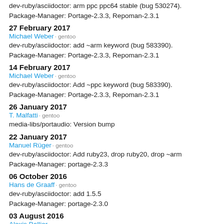dev-ruby/asciidoctor: arm ppc ppc64 stable (bug 530274).
Package-Manager: Portage-2.3.3, Repoman-2.3.1
27 February 2017
Michael Weber · gentoo
dev-ruby/asciidoctor: add ~arm keyword (bug 583390).
Package-Manager: Portage-2.3.3, Repoman-2.3.1
14 February 2017
Michael Weber · gentoo
dev-ruby/asciidoctor: Add ~ppc keyword (bug 583390).
Package-Manager: Portage-2.3.3, Repoman-2.3.1
26 January 2017
T. Malfatti · gentoo
media-libs/portaudio: Version bump
22 January 2017
Manuel Rüger · gentoo
dev-ruby/asciidoctor: Add ruby23, drop ruby20, drop ~arm
Package-Manager: portage-2.3.3
06 October 2016
Hans de Graaff · gentoo
dev-ruby/asciidoctor: add 1.5.5
Package-Manager: portage-2.3.0
03 August 2016
Alexis Ballier · ...